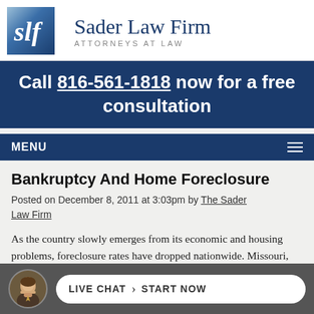[Figure (logo): Sader Law Firm logo with 'slf' monogram in blue square and firm name 'Sader Law Firm, Attorneys at Law']
Call 816-561-1818 now for a free consultation
MENU
Bankruptcy And Home Foreclosure
Posted on December 8, 2011 at 3:03pm by The Sader Law Firm
As the country slowly emerges from its economic and housing problems, foreclosure rates have dropped nationwide. Missouri, however, has seen things
[Figure (photo): Live Chat widget with photo of attorney and 'LIVE CHAT > START NOW' button]